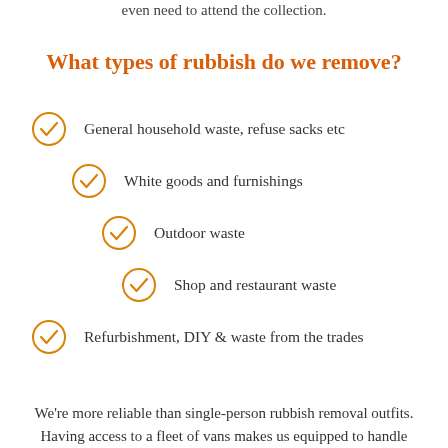even need to attend the collection.
What types of rubbish do we remove?
General household waste, refuse sacks etc
White goods and furnishings
Outdoor waste
Shop and restaurant waste
Refurbishment, DIY & waste from the trades
We're more reliable than single-person rubbish removal outfits. Having access to a fleet of vans makes us equipped to handle